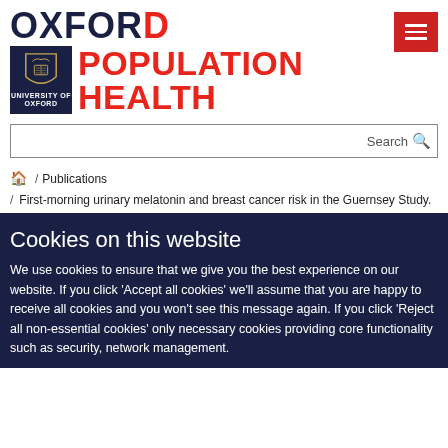[Figure (logo): Oxford Population Health logo with University of Oxford shield and red text]
Search
🏠 / Publications
/ First-morning urinary melatonin and breast cancer risk in the Guernsey Study.
Cookies on this website
We use cookies to ensure that we give you the best experience on our website. If you click 'Accept all cookies' we'll assume that you are happy to receive all cookies and you won't see this message again. If you click 'Reject all non-essential cookies' only necessary cookies providing core functionality such as security, network management.